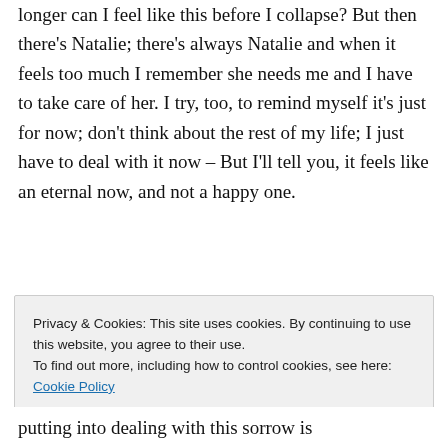longer can I feel like this before I collapse? But then there's Natalie; there's always Natalie and when it feels too much I remember she needs me and I have to take care of her. I try, too, to remind myself it's just for now; don't think about the rest of my life; I just have to deal with it now – But I'll tell you, it feels like an eternal now, and not a happy one.
↳ Reply
Privacy & Cookies: This site uses cookies. By continuing to use this website, you agree to their use.
To find out more, including how to control cookies, see here: Cookie Policy
Close and accept
putting into dealing with this sorrow is